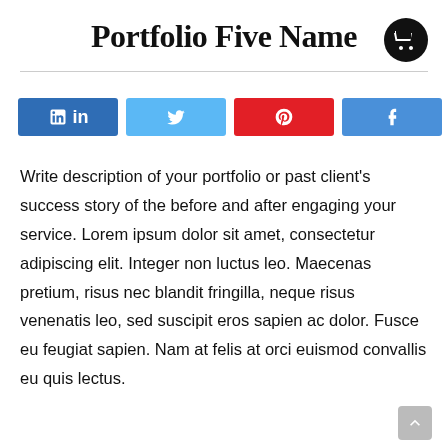Portfolio Five Name
[Figure (infographic): Social share buttons: LinkedIn (blue), Twitter (light blue), Pinterest (red), Facebook (blue), and a share count showing 0 SHARES]
Write description of your portfolio or past client's success story of the before and after engaging your service. Lorem ipsum dolor sit amet, consectetur adipiscing elit. Integer non luctus leo. Maecenas pretium, risus nec blandit fringilla, neque risus venenatis leo, sed suscipit eros sapien ac dolor. Fusce eu feugiat sapien. Nam at felis at orci euismod convallis eu quis lectus.